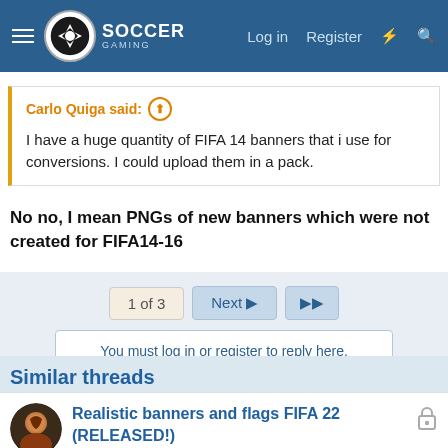Soccer Gaming — Log in | Register
Carlo Quiga said: ↑
I have a huge quantity of FIFA 14 banners that i use for conversions. I could upload them in a pack.
No no, I mean PNGs of new banners which were not created for FIFA14-16
1 of 3  Next ▶  ▶▶
You must log in or register to reply here.
Similar threads
Realistic banners and flags FIFA 22 (RELEASED!)
Lucas59PSG · FIFA 22 Mods, Patches, Total Conversions
Replies: 4 · Dec 22, 2021